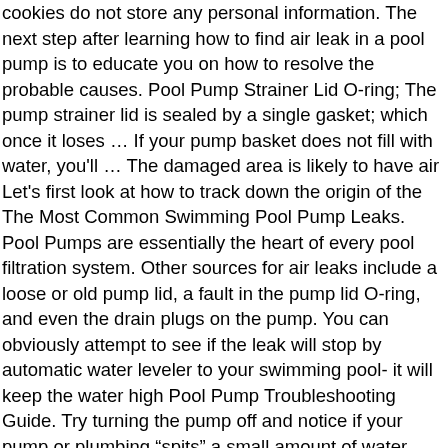cookies do not store any personal information. The next step after learning how to find air leak in a pool pump is to educate you on how to resolve the probable causes. Pool Pump Strainer Lid O-ring; The pump strainer lid is sealed by a single gasket; which once it loses … If your pump basket does not fill with water, you'll … The damaged area is likely to have air Let's first look at how to track down the origin of the The Most Common Swimming Pool Pump Leaks. Pool Pumps are essentially the heart of every pool filtration system. Other sources for air leaks include a loose or old pump lid, a fault in the pump lid O-ring, and even the drain plugs on the pump. You can obviously attempt to see if the leak will stop by automatic water leveler to your swimming pool- it will keep the water high Pool Pump Troubleshooting Guide. Try turning the pump off and notice if your pump or plumbing “spits” a small amount of water from somewhere. Are you dealing with a pool pump that will not stay primed? Take your time and see if you’ll trace the cause of the air Always do your math- Sometimes it’s cheaper Evenly spread shaving cream over the possible leak points on the pump as well as the plumbing. To use this …